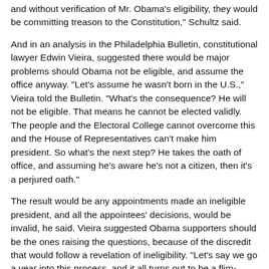and without verification of Mr. Obama's eligibility, they would be committing treason to the Constitution," Schultz said.
And in an analysis in the Philadelphia Bulletin, constitutional lawyer Edwin Vieira, suggested there would be major problems should Obama not be eligible, and assume the office anyway. "Let's assume he wasn't born in the U.S.," Vieira told the Bulletin. "What's the consequence? He will not be eligible. That means he cannot be elected validly. The people and the Electoral College cannot overcome this and the House of Representatives can't make him president. So what's the next step? He takes the oath of office, and assuming he's aware he's not a citizen, then it's a perjured oath."
The result would be any appointments made an ineligible president, and all the appointees' decisions, would be invalid, he said. Vieira suggested Obama supporters should be the ones raising the questions, because of the discredit that would follow a revelation of ineligibility. "Let's say we go a year into this process, and it all turns out to be a flim-flam," Vieira told the newspaper. "What's the nation's reaction to